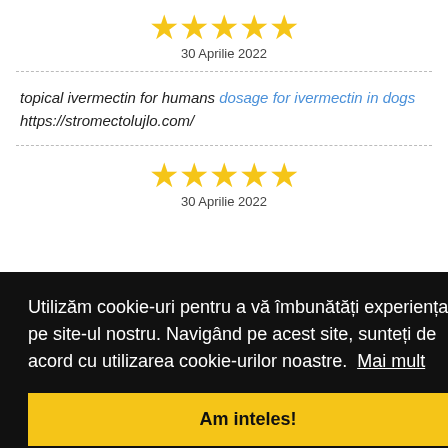[Figure (other): 5 yellow star rating icons]
30 Aprilie 2022
topical ivermectin for humans dosage for ivermectin in dogs https://stromectolujlo.com/
[Figure (other): 5 yellow star rating icons]
30 Aprilie 2022
Utilizăm cookie-uri pentru a vă îmbunătăți experiența pe site-ul nostru. Navigând pe acest site, sunteți de acord cu utilizarea cookie-urilor noastre. Mai mult
Am inteles!